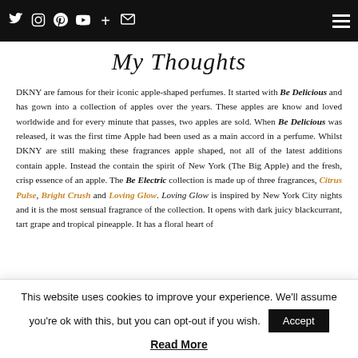Base Notes: Vanilla, Amberwood, Musk
My Thoughts
DKNY are famous for their iconic apple-shaped perfumes. It started with Be Delicious and has gown into a collection of apples over the years. These apples are know and loved worldwide and for every minute that passes, two apples are sold. When Be Delicious was released, it was the first time Apple had been used as a main accord in a perfume. Whilst DKNY are still making these fragrances apple shaped, not all of the latest additions contain apple. Instead the contain the spirit of New York (The Big Apple) and the fresh, crisp essence of an apple. The Be Electric collection is made up of three fragrances, Citrus Pulse, Bright Crush and Loving Glow. Loving Glow is inspired by New York City nights and it is the most sensual fragrance of the collection. It opens with dark juicy blackcurrant, tart grape and tropical pineapple. It has a floral heart of
This website uses cookies to improve your experience. We'll assume you're ok with this, but you can opt-out if you wish. Accept
Read More